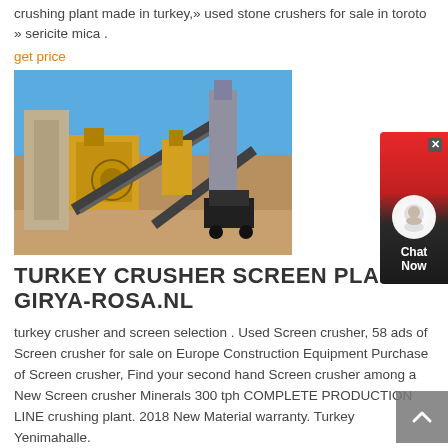crushing plant made in turkey,» used stone crushers for sale in toroto » sericite mica .
get price
[Figure (photo): Industrial stone crushing and screening plant with yellow machinery, conveyor belts, under blue sky]
TURKEY CRUSHER SCREEN PLANT GIRYA-ROSA.NL
turkey crusher and screen selection . Used Screen crusher, 58 ads of Screen crusher for sale on Europe Construction Equipment Purchase of Screen crusher, Find your second hand Screen crusher among a New Screen crusher Minerals 300 tph COMPLETE PRODUCTION LINE crushing plant. 2018 New Material warranty. Turkey Yenimahalle.